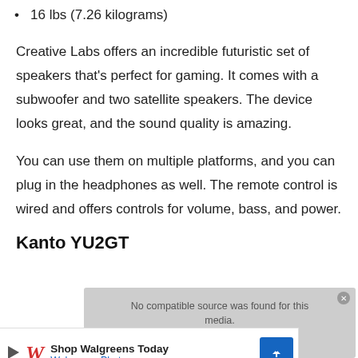16 lbs (7.26 kilograms)
Creative Labs offers an incredible futuristic set of speakers that's perfect for gaming. It comes with a subwoofer and two satellite speakers. The device looks great, and the sound quality is amazing.
You can use them on multiple platforms, and you can plug in the headphones as well. The remote control is wired and offers controls for volume, bass, and power.
Kanto YU2GT
[Figure (other): Advertisement overlay: 'No compatible source was found for this media.' message with a Walgreens ad banner below showing 'Shop Walgreens Today / Walgreens Photo']